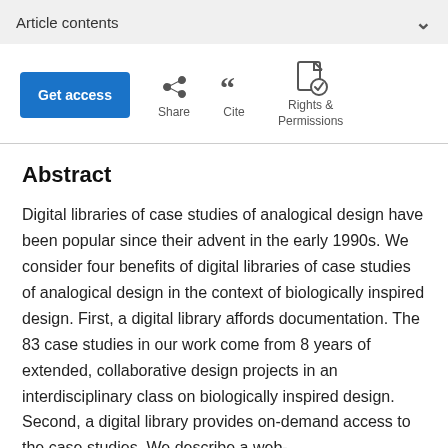Article contents
[Figure (screenshot): Toolbar with Get access button, Share icon, Cite icon, and Rights & Permissions icon]
Abstract
Digital libraries of case studies of analogical design have been popular since their advent in the early 1990s. We consider four benefits of digital libraries of case studies of analogical design in the context of biologically inspired design. First, a digital library affords documentation. The 83 case studies in our work come from 8 years of extended, collaborative design projects in an interdisciplinary class on biologically inspired design. Second, a digital library provides on-demand access to the case studies. We describe a web-